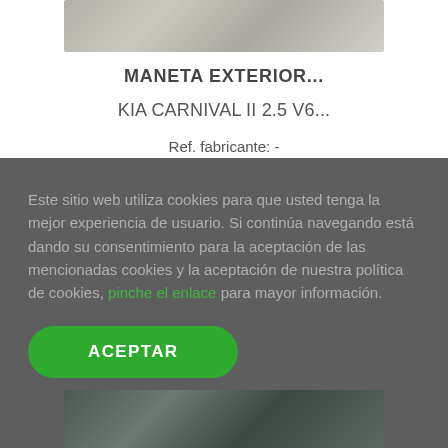[Figure (photo): Partial photo of a car exterior door handle product, grayscale metallic part at top of page]
MANETA EXTERIOR...
KIA CARNIVAL II 2.5 V6...
Ref. fabricante: -
Este sitio web utiliza cookies para que usted tenga la mejor experiencia de usuario. Si continúa navegando está dando su consentimiento para la aceptación de las mencionadas cookies y la aceptación de nuestra política de cookies, pinche el enlace para mayor información.
ACEPTAR
[Figure (photo): Partial photo of a car exterior door handle product, darker metallic part at bottom of page]